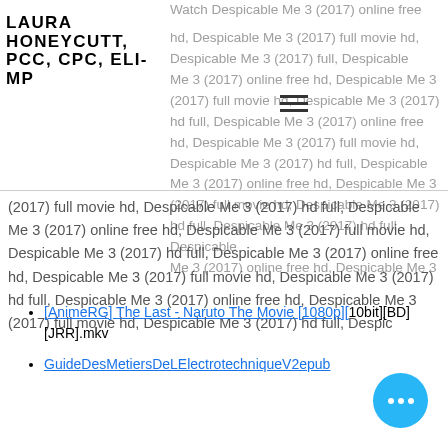Watch Despicable Me 3 (2017) online free hd, Despicable Me 3 (2017) full movie hd, Despicable Me 3 (2017) full, Despicable Me 3 (2017) online free hd, Despicable Me 3 (2017) full movie hd, Despicable Me 3 (2017) hd full, Despicable Me 3 (2017) online free hd, Despicable Me 3 (2017) full movie hd, Despicable Me 3 (2017) hd full, Despicable Me 3 (2017) online free hd, Despicable Me 3 (2017) full movie hd, Despicable Me 3 (2017) hd full, Despic
LAURA HONEYCUTT, PCC, CPC, ELI-MP
Despicable Me 3 (2017) online free hd, Despicable Me 3 (2017) full movie hd, Despicable Me 3 (2017) hd full, Despicable Me 3 (2017) online free hd, Despicable Me 3 (2017) full movie hd, Despicable Me 3 (2017) hd full, Despic
[AnimeRG] The Last - Naruto The Movie [1080p][10bit][BD][JRR].mkv
GuideDesMetiersDeLElectrotechniqueV2epub